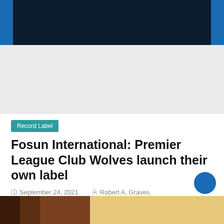[Figure (other): Advertisement banner placeholder (grey background)]
Record Label
Fosun International: Premier League Club Wolves launch their own label
September 24, 2021   Robert A. Graves
September 22, 2021 – Wolves has partnered with the Alternative Distribution Alliance (ADA) of Warner Music UK, the multi-award-winning label services division, to launch a revolutionary new venture as the first UK football club to launch a label. The Wolves Records label is an ambitious and unique proposition that will bring together two of the [...]
[Figure (photo): Partial photo at bottom of page showing a person, warm tones]